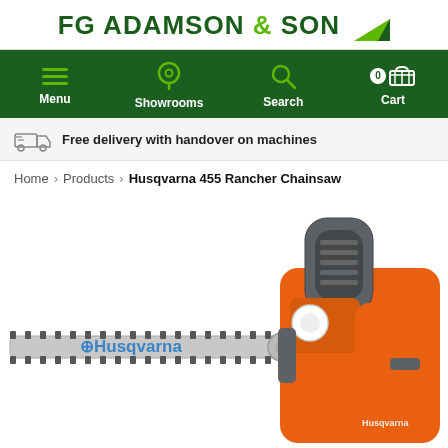FG ADAMSON & SON
[Figure (screenshot): Navigation bar with dark green background showing Menu (hamburger icon), Showrooms (location pin icon), Search (magnifying glass icon), and Cart (basket icon with 0 badge) items in white text]
Free delivery with handover on machines
Home > Products > Husqvarna 455 Rancher Chainsaw
[Figure (photo): Husqvarna 455 Rancher Chainsaw product photo showing an orange and grey chainsaw with a long guide bar and chain, with Husqvarna branding visible on the bar. The chainsaw is shown at a slight angle against a white background.]